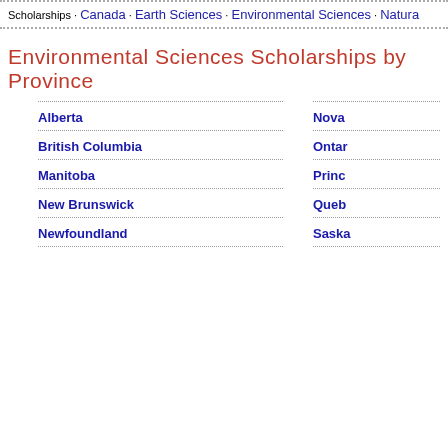Scholarships · Canada · Earth Sciences · Environmental Sciences · Natural ...
Environmental Sciences Scholarships by Province
Alberta
British Columbia
Manitoba
New Brunswick
Newfoundland
Nova ...
Ontar...
Princ...
Queb...
Saska...